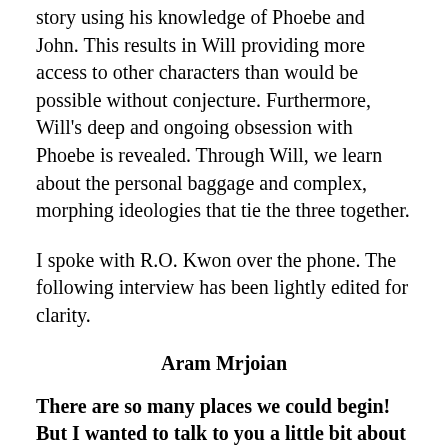story using his knowledge of Phoebe and John. This results in Will providing more access to other characters than would be possible without conjecture. Furthermore, Will's deep and ongoing obsession with Phoebe is revealed. Through Will, we learn about the personal baggage and complex, morphing ideologies that tie the three together.
I spoke with R.O. Kwon over the phone. The following interview has been lightly edited for clarity.
Aram Mrjoian
There are so many places we could begin! But I wanted to talk to you a little bit about process.